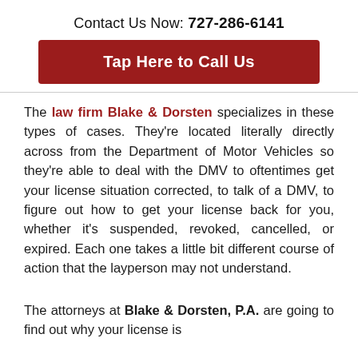Contact Us Now: 727-286-6141
[Figure (other): Red button with white text reading 'Tap Here to Call Us']
The law firm Blake & Dorsten specializes in these types of cases. They're located literally directly across from the Department of Motor Vehicles so they're able to deal with the DMV to oftentimes get your license situation corrected, to talk of a DMV, to figure out how to get your license back for you, whether it's suspended, revoked, cancelled, or expired. Each one takes a little bit different course of action that the layperson may not understand.
The attorneys at Blake & Dorsten, P.A. are going to find out why your license is